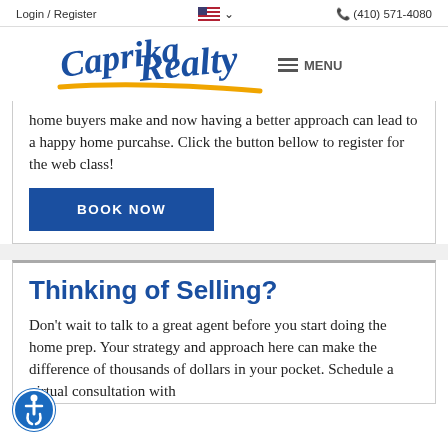Login / Register   🇺🇸 ∨   📞 (410) 571-4080
[Figure (logo): Caprika Realty logo in blue and gold script with MENU hamburger icon]
home buyers make and now having a better approach can lead to a happy home purcahse. Click the button bellow to register for the web class!
BOOK NOW
Thinking of Selling?
Don't wait to talk to a great agent before you start doing the home prep. Your strategy and approach here can make the difference of thousands of dollars in your pocket. Schedule a virtual consultation with